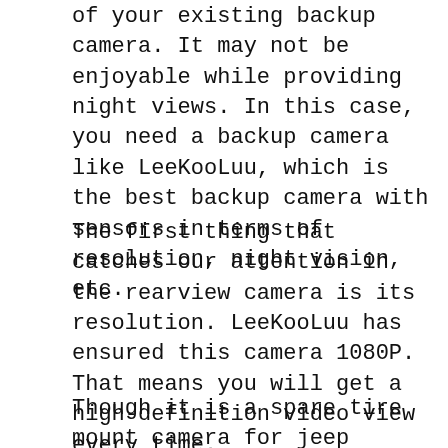of your existing backup camera. It may not be enjoyable while providing night views. In this case, you need a backup camera like LeeKooLuu, which is the best backup camera with sensors in terms of resolution, night vision, etc.
The first thing that catches our attention in the rearview camera is its resolution. LeeKooLuu has ensured this camera 1080P. That means you will get a high-definition video view every time.
Though it is a spare tire mount camera for jeep wranglers, the installation is effortless. It is included with the necessary wired to ensure easy installation, which is quite long to reach the monitor or dashboard.